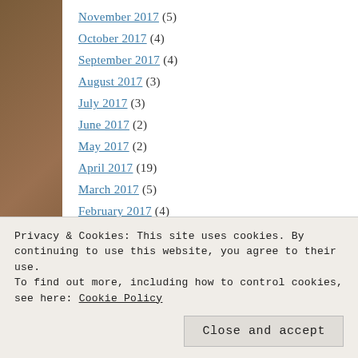November 2017 (5)
October 2017 (4)
September 2017 (4)
August 2017 (3)
July 2017 (3)
June 2017 (2)
May 2017 (2)
April 2017 (19)
March 2017 (5)
February 2017 (4)
January 2017 (4)
August 2016 (31)
Privacy & Cookies: This site uses cookies. By continuing to use this website, you agree to their use. To find out more, including how to control cookies, see here: Cookie Policy
Close and accept